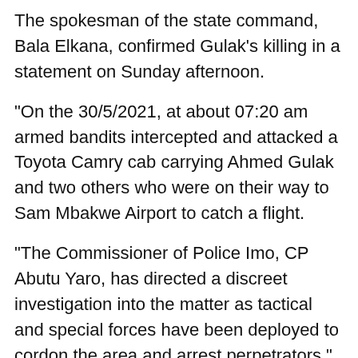The spokesman of the state command, Bala Elkana, confirmed Gulak's killing in a statement on Sunday afternoon.
“On the 30/5/2021, at about 07:20 am armed bandits intercepted and attacked a Toyota Camry cab carrying Ahmed Gulak and two others who were on their way to Sam Mbakwe Airport to catch a flight.
“The Commissioner of Police Imo, CP Abutu Yaro, has directed a discreet investigation into the matter as tactical and special forces have been deployed to cordon the area and arrest perpetrators,” the statement said.
Gulak was in Imo state to attend the public hearing of the constitution review committee held in the city.
After the conclusion of the committee’s sitting, Gulak stayed back while other members of the committee